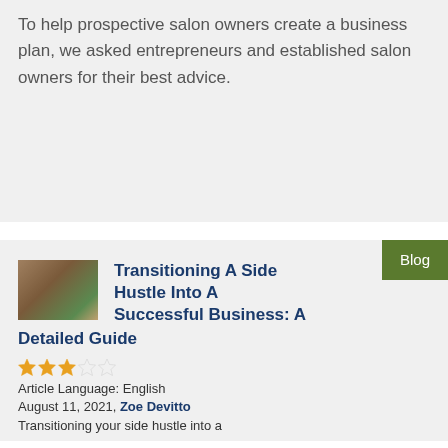To help prospective salon owners create a business plan, we asked entrepreneurs and established salon owners for their best advice.
[Figure (photo): Small thumbnail photo of a person in a workshop or studio setting]
Transitioning A Side Hustle Into A Successful Business: A Detailed Guide
★★★☆☆
Article Language: English
August 11, 2021, Zoe Devitto
Transitioning your side hustle into a